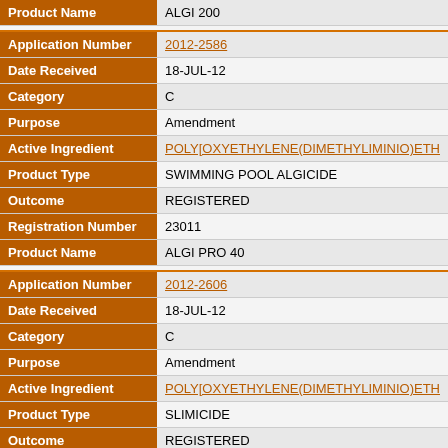| Field | Value |
| --- | --- |
| Product Name | ALGI 200 |
| Application Number | 2012-2586 |
| Date Received | 18-JUL-12 |
| Category | C |
| Purpose | Amendment |
| Active Ingredient | POLY[OXYETHYLENE(DIMETHYLIMINIO)ETH... |
| Product Type | SWIMMING POOL ALGICIDE |
| Outcome | REGISTERED |
| Registration Number | 23011 |
| Product Name | ALGI PRO 40 |
| Application Number | 2012-2606 |
| Date Received | 18-JUL-12 |
| Category | C |
| Purpose | Amendment |
| Active Ingredient | POLY[OXYETHYLENE(DIMETHYLIMINIO)ETH... |
| Product Type | SLIMICIDE |
| Outcome | REGISTERED |
| Registration Number | 21729 |
| Product Name | OMNITROL 300-CW |
| Application Number | 2012-2607 |
| Date Received | 18-JUL-12 |
| Category | D |